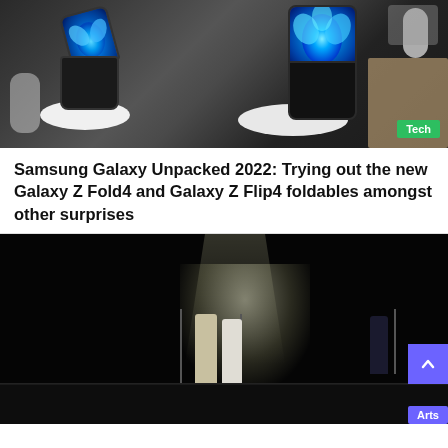[Figure (photo): Samsung Galaxy Z Fold4 and Galaxy Z Flip4 foldable phones on white pedestals against a dark background. A green 'Tech' badge is visible in the bottom right corner of the image.]
Samsung Galaxy Unpacked 2022: Trying out the new Galaxy Z Fold4 and Galaxy Z Flip4 foldables amongst other surprises
[Figure (photo): Concert performance on a dark stage with two performers at microphone stands under spotlight, and a third performer to the right. An 'Arts' badge is visible in the bottom right corner. A purple scroll-to-top button is also visible.]